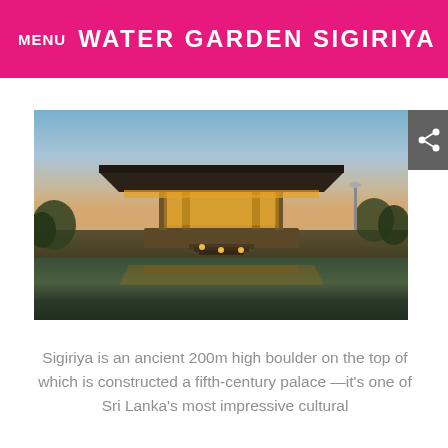MENU  WATER GARDEN SIGIRIYA
[Figure (photo): Modern pavilion-style building with wide overhanging roof, illuminated at dusk, reflected in a still pond/water feature below. Trees visible in background against a twilight sky.]
Sigiriya is an ancient 200m high boulder on the top of which is constructed a fifth-century palace—it's one of Sri Lanka's most impressive cultural